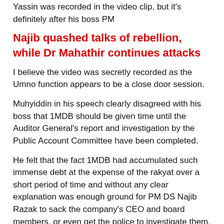Yassin was recorded in the video clip, but it's definitely after his boss PM
Najib quashed talks of rebellion, while Dr Mahathir continues attacks
I believe the video was secretly recorded as the Umno function appears to be a close door session.
Muhyiddin in his speech clearly disagreed with his boss that 1MDB should be given time until the Auditor General's report and investigation by the Public Account Committee have been completed.
He felt that the fact 1MDB had accumulated such immense debt at the expense of the rakyat over a short period of time and without any clear explanation was enough ground for PM DS Najib Razak to sack the company's CEO and board members, or even get the police to investigate them.
Muhyiddin repeatedly insisted that the 1MDB issue could